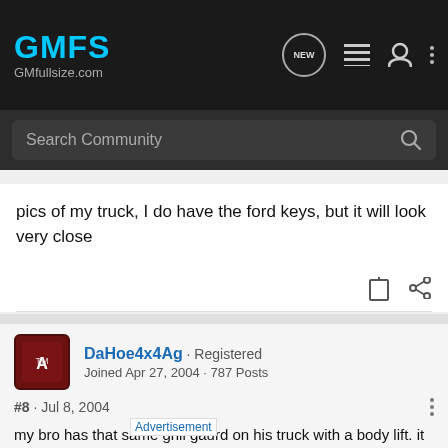GMFS GMfullsize.com
pics of my truck, I do have the ford keys, but it will look very close
DaHoe4x4Ag · Registered
Joined Apr 27, 2004 · 787 Posts
#8 · Jul 8, 2004
my bro has that same grill gaurd on his truck with a body lift. it was my old truck (i'm the one that bought the grill and installed it) and it was pretty damn easy to fab some brackets up...........i'll explain more tonight, i've got some shit do first.......